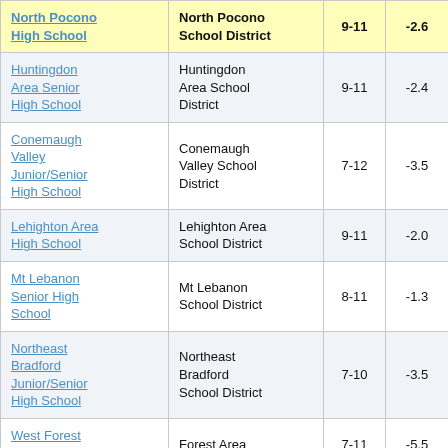| School | District | Grades | Score |
| --- | --- | --- | --- |
| North Pocono High School | North Pocono School District | 9-11 | -2.6 |
| Huntingdon Area Senior High School | Huntingdon Area School District | 9-11 | -2.4 |
| Conemaugh Valley Junior/Senior High School | Conemaugh Valley School District | 7-12 | -3.5 |
| Lehighton Area High School | Lehighton Area School District | 9-11 | -2.0 |
| Mt Lebanon Senior High School | Mt Lebanon School District | 8-11 | -1.3 |
| Northeast Bradford Junior/Senior High School | Northeast Bradford School District | 7-10 | -3.5 |
| West Forest Junior/Senior ... | Forest Area ... | 7-11 | -5.5 |